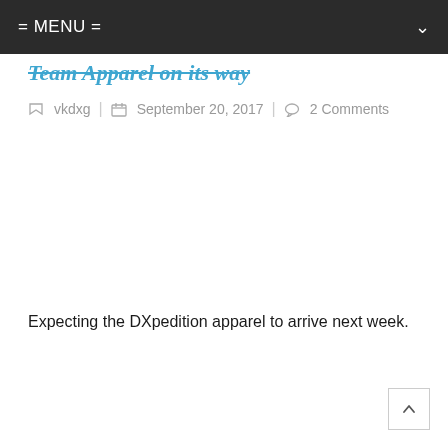= MENU =
Team Apparel on its way
vkdxg | September 20, 2017 | 2 Comments
Expecting the DXpedition apparel to arrive next week.